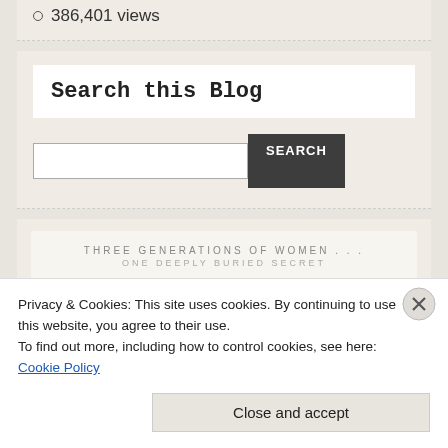386,401 views
Search this Blog
[Figure (screenshot): Search input field with a SEARCH button]
[Figure (illustration): Book promotional image with text: THREE GENERATIONS OF WOMEN . . . ONE DEEPLY BURIED SECRET]
Privacy & Cookies: This site uses cookies. By continuing to use this website, you agree to their use.
To find out more, including how to control cookies, see here: Cookie Policy
Close and accept